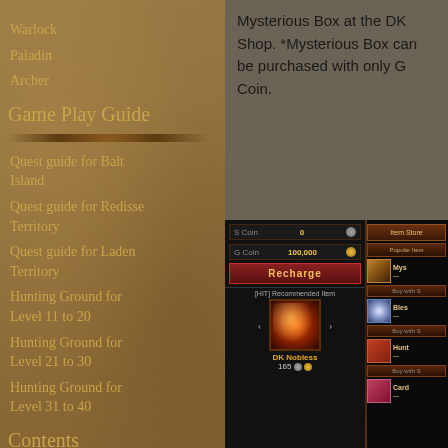Warlock
Paladin
Archer
Game Play Guide
Quest guide for Balt Island
Quest guide for Redisse Territory
Quest guide for Laden Territory
Hunting Ground for Level 11 to 20
Hunting Ground for Level 21 to 30
Hunting Ground for Level 31 to 40
Contents
Craft
Obtaining a Material Item
Mysterious Box at the DK Shop. *Mysterious Box can be purchased with only G Coin.
[Figure (screenshot): Game UI showing DK Shop with S Coin (0), G Coin (100,000), Recharge button, HIT Recommended Item featuring DK Nobless for 165 coins, Item Store panel with Popular Item section showing Mysterious Box, Bless item, Hunt item, and Card item with Buy with S buttons.]